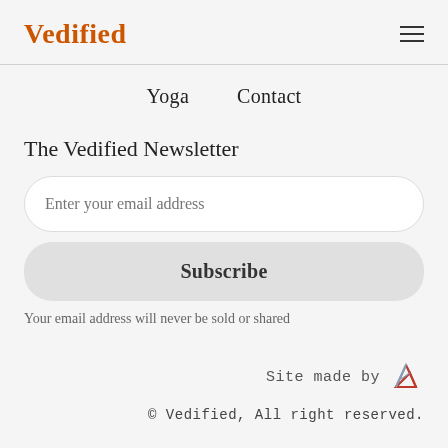Vedified
Yoga
Contact
The Vedified Newsletter
Enter your email address
Subscribe
Your email address will never be sold or shared
Site made by
© Vedified, All right reserved.